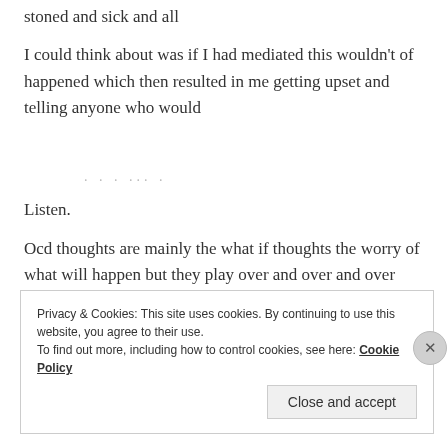stoned and sick and all
I could think about was if I had mediated this wouldn't of happened which then resulted in me getting upset and telling anyone who would
Listen.
Ocd thoughts are mainly the what if thoughts the worry of what will happen but they play over and over and over like a bad dance track stuck on repeat. Then when you see a tiny glimpse of what
Privacy & Cookies: This site uses cookies. By continuing to use this website, you agree to their use. To find out more, including how to control cookies, see here: Cookie Policy
Close and accept